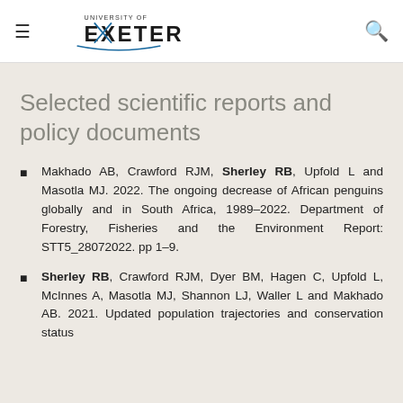University of Exeter [logo]
Selected scientific reports and policy documents
Makhado AB, Crawford RJM, Sherley RB, Upfold L and Masotla MJ. 2022. The ongoing decrease of African penguins globally and in South Africa, 1989–2022. Department of Forestry, Fisheries and the Environment Report: STT5_28072022. pp 1–9.
Sherley RB, Crawford RJM, Dyer BM, Hagen C, Upfold L, McInnes A, Masotla MJ, Shannon LJ, Waller L and Makhado AB. 2021. Updated population trajectories and conservation status...